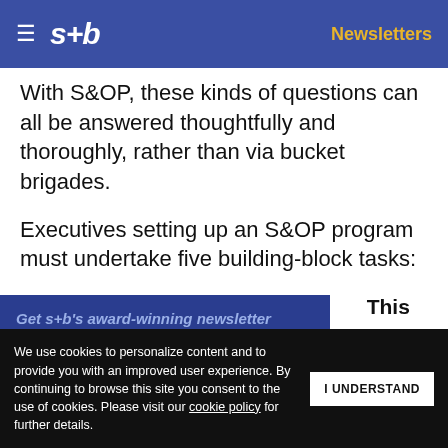s+b | Newsletters
With S&OP, these kinds of questions can all be answered thoughtfully and thoroughly, rather than via bucket brigades.
Executives setting up an S&OP program must undertake five building-block tasks:
1. Set service and supply policies. This works way as service levels
Get s+b's award-winning newsletter delivered to your inbox.
We use cookies to personalize content and to provide you with an improved user experience. By continuing to browse this site you consent to the use of cookies. Please visit our cookie policy for further details.